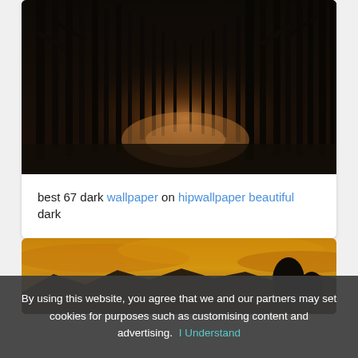[Figure (photo): Dark forest path with tall bare trees and a spotlight of warm light illuminating the ground in the center distance]
best 67 dark wallpaper on hipwallpaper beautiful dark
[Figure (photo): Sunset landscape with golden-orange sky, silhouetted mountains in background and dark tree silhouette in foreground right]
By using this website, you agree that we and our partners may set cookies for purposes such as customising content and advertising. I Understand